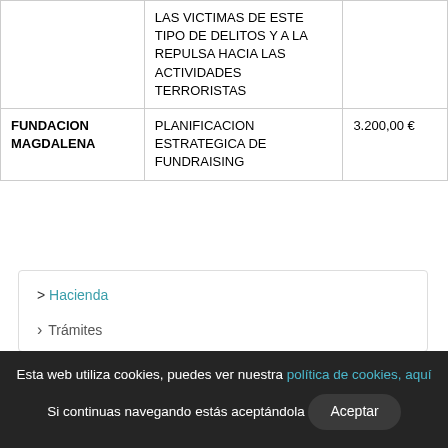|  | LAS VICTIMAS DE ESTE TIPO DE DELITOS Y A LA REPULSA HACIA LAS ACTIVIDADES TERRORISTAS |  |
| FUNDACION MAGDALENA | PLANIFICACION ESTRATEGICA DE FUNDRAISING | 3.200,00 € |
> Hacienda
Trámites
Esta web utiliza cookies, puedes ver nuestra política de cookies, aquí Si continuas navegando estás aceptándola Aceptar